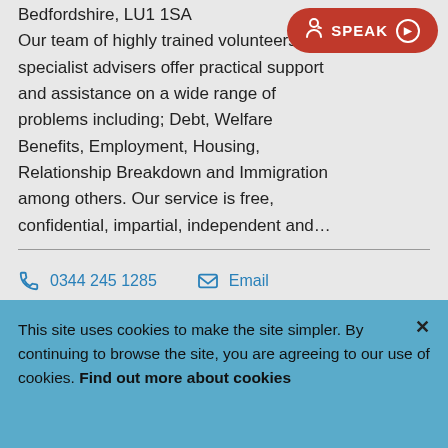Bedfordshire, LU1 1SA
Our team of highly trained volunteers and specialist advisers offer practical support and assistance on a wide range of problems including; Debt, Welfare Benefits, Employment, Housing, Relationship Breakdown and Immigration among others. Our service is free, confidential, impartial, independent and...
0344 245 1285
Email
Website
Add to My Shortlist
This site uses cookies to make the site simpler. By continuing to browse the site, you are agreeing to our use of cookies. Find out more about cookies